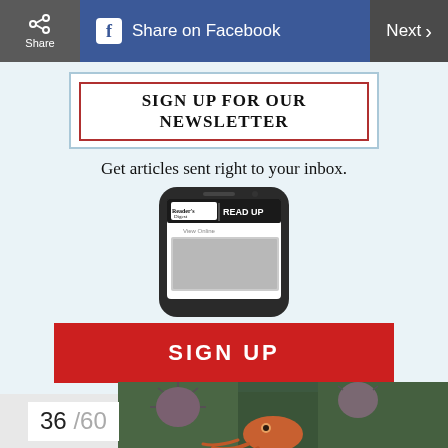Share | Share on Facebook | Next >
SIGN UP FOR OUR NEWSLETTER
Get articles sent right to your inbox.
[Figure (screenshot): Smartphone showing Reader's Digest READ UP newsletter signup page]
SIGN UP
36 /60
[Figure (photo): Underwater photo of an octopus among sea urchins on rocks]